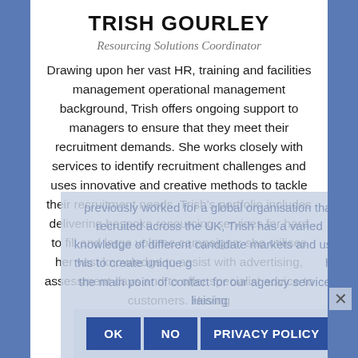TRISH GOURLEY
Resourcing Solutions Coordinator
Drawing upon her vast HR, training and facilities management operational management background, Trish offers ongoing support to managers to ensure that they meet their recruitment demands. She works closely with services to identify recruitment challenges and uses innovative and creative methods to tackle their recruitment needs. Trish’s portfolio includes delivering bespoke resourcing services for hard to fill and large volume campaigns; she utilises her vast knowledge to assist with advertising, assessment days and to offer specialist advice to customers. Having previously worked for a global organisation that recruited across the UK, Trish has a varied knowledge of different candidate markets and uses this to create unique go-to-market strategies and has the main point of contact for our agency services, liaising